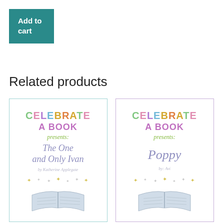Add to cart
Related products
[Figure (illustration): Book cover for 'Celebrate A Book presents: The One and Only Ivan by Katherine Applegate' with colorful lettering and an open book graphic]
[Figure (illustration): Book cover for 'Celebrate A Book presents: Poppy by Avi' with colorful lettering and an open book graphic]